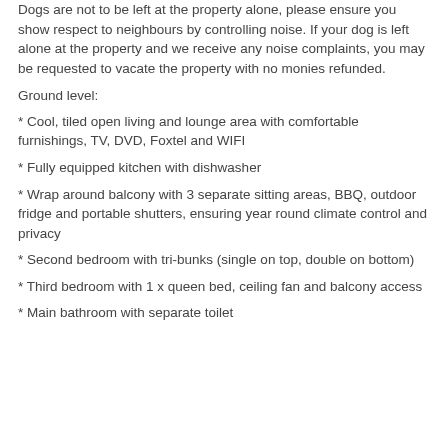Dogs are not to be left at the property alone, please ensure you show respect to neighbours by controlling noise. If your dog is left alone at the property and we receive any noise complaints, you may be requested to vacate the property with no monies refunded.
Ground level:
* Cool, tiled open living and lounge area with comfortable furnishings, TV, DVD, Foxtel and WIFI
* Fully equipped kitchen with dishwasher
* Wrap around balcony with 3 separate sitting areas, BBQ, outdoor fridge and portable shutters, ensuring year round climate control and privacy
* Second bedroom with tri-bunks (single on top, double on bottom)
* Third bedroom with 1 x queen bed, ceiling fan and balcony access
* Main bathroom with separate toilet